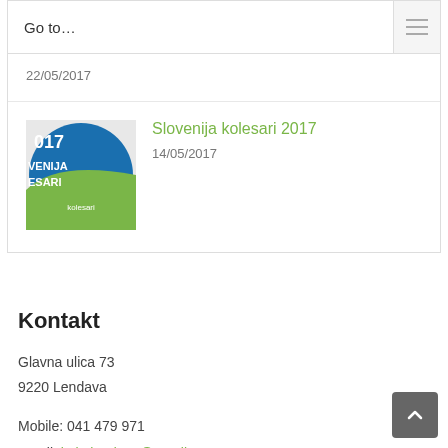Go to…
22/05/2017
[Figure (photo): Thumbnail image showing 'Slovenija kolesari 2017' logo with blue and green design]
Slovenija kolesari 2017
14/05/2017
Kontakt
Glavna ulica 73
9220 Lendava
Mobile: 041 479 971
Email: kolo.lendava@gmail.com
Web: www.kolesarski-klub-lendava.si